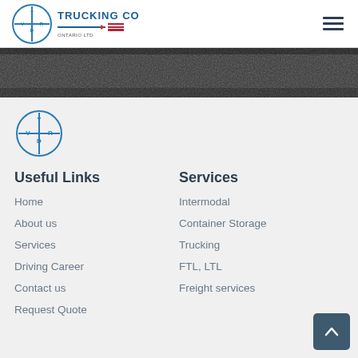VIRDI TRUCKING CO - ONTARIO LTD
[Figure (photo): Dark textured hero banner image showing ground/road surface]
[Figure (logo): Virdi circular logo mark in teal/dark blue outline]
Useful Links
Services
Home
Intermodal
About us
Container Storage
Services
Trucking
Driving Career
FTL, LTL
Contact us
Freight services
Request Quote